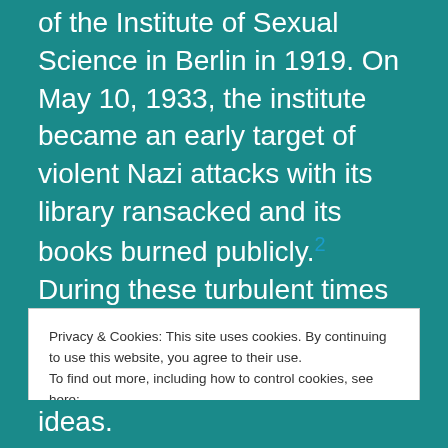of the Institute of Sexual Science in Berlin in 1919. On May 10, 1933, the institute became an early target of violent Nazi attacks with its library ransacked and its books burned publicly.2 During these turbulent times in Germany, Hirschfeld was on a lecture tour in the Unites States, where he was lauded as a celebrity and his knowledge was embraced enthusiastically by many in the American academy, press, and
Privacy & Cookies: This site uses cookies. By continuing to use this website, you agree to their use.
To find out more, including how to control cookies, see here:
Privacy Policy
ideas.